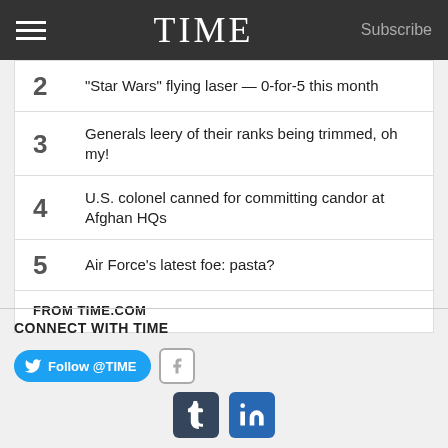TIME | Subscribe
2  "Star Wars" flying laser — 0-for-5 this month
3  Generals leery of their ranks being trimmed, oh my!
4  U.S. colonel canned for committing candor at Afghan HQs
5  Air Force's latest foe: pasta?
FROM TIME.COM
CONNECT WITH TIME
[Figure (other): Twitter Follow @TIME button, Facebook small icon, Tumblr icon, LinkedIn icon]